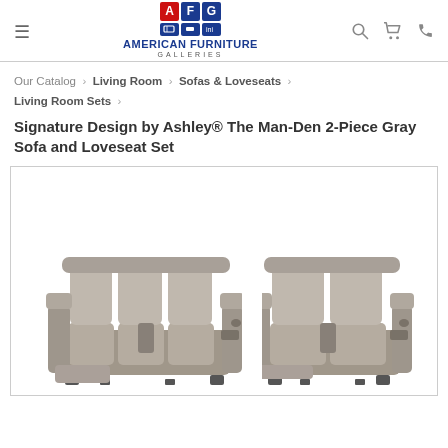American Furniture Galleries
Our Catalog › Living Room › Sofas & Loveseats › Living Room Sets ›
Signature Design by Ashley® The Man-Den 2-Piece Gray Sofa and Loveseat Set
[Figure (photo): Gray leather power reclining sofa and loveseat set (The Man-Den by Ashley), shown side by side on white background. Both pieces feature tufted backs, cup holders, and reclining footrests.]